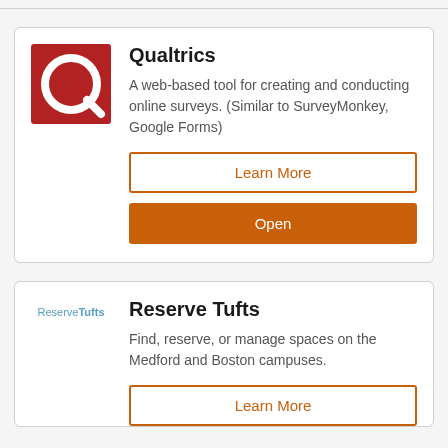[Figure (logo): Qualtrics logo: red square with white Q letter design]
Qualtrics
A web-based tool for creating and conducting online surveys. (Similar to SurveyMonkey, Google Forms)
Learn More
Open
[Figure (logo): ReserveTufts logo text in blue: 'Reserve' normal weight, 'Tufts' bold]
Reserve Tufts
Find, reserve, or manage spaces on the Medford and Boston campuses.
Learn More